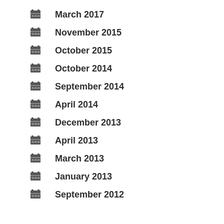March 2017
November 2015
October 2015
October 2014
September 2014
April 2014
December 2013
April 2013
March 2013
January 2013
September 2012